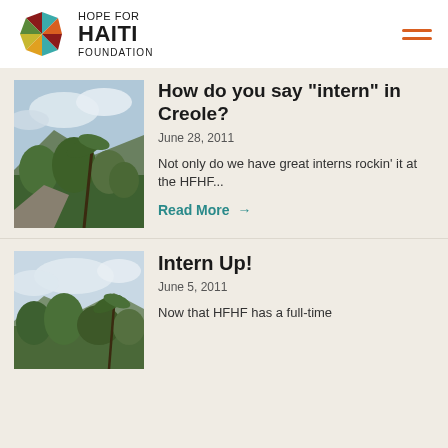Hope for Haiti Foundation
How do you say "intern" in Creole?
June 28, 2011
Not only do we have great interns rockin' it at the HFHF...
Read More →
Intern Up!
June 5, 2011
Now that HFHF has a full-time